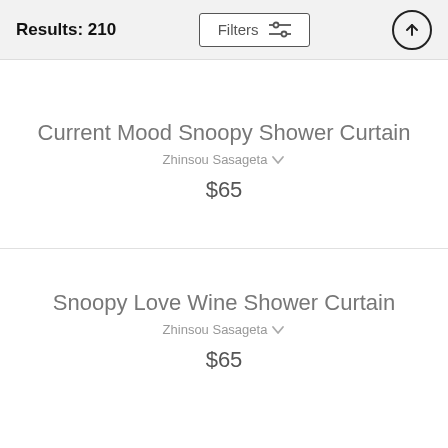Results: 210
Current Mood Snoopy Shower Curtain
Zhinsou Sasageta
$65
Snoopy Love Wine Shower Curtain
Zhinsou Sasageta
$65